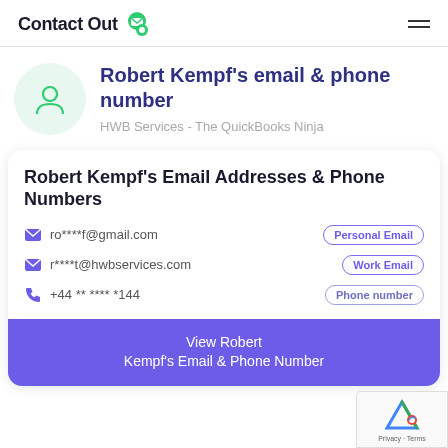ContactOut
Robert Kempf's email & phone number
HWB Services - The QuickBooks Ninja
Robert Kempf's Email Addresses & Phone Numbers
ro****f@gmail.com  Personal Email
r****t@hwbservices.com  Work Email
+44 ** **** *144  Phone number
View Robert Kempf's Email & Phone Number